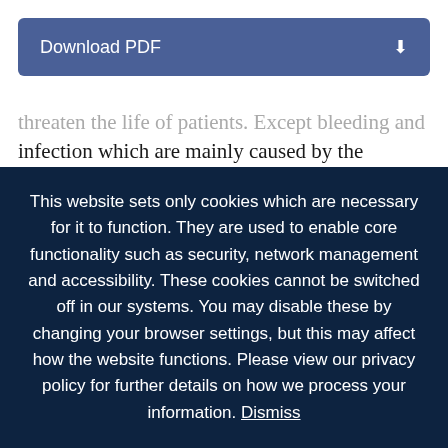[Figure (screenshot): Download PDF button with blue background and download icon]
threaten the life of patients. Except bleeding and infection which are mainly caused by the operation, other complications, such as ischemia, hypoxaemia, hyperperfusion and vascular complication, have relationship with the hemodynamic flow field. This article focuses on the hemodynamic difference of the
This website sets only cookies which are necessary for it to function. They are used to enable core functionality such as security, network management and accessibility. These cookies cannot be switched off in our systems. You may disable these by changing your browser settings, but this may affect how the website functions. Please view our privacy policy for further details on how we process your information. Dismiss